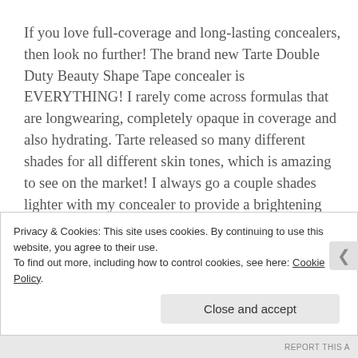If you love full-coverage and long-lasting concealers, then look no further! The brand new Tarte Double Duty Beauty Shape Tape concealer is EVERYTHING! I rarely come across formulas that are longwearing, completely opaque in coverage and also hydrating. Tarte released so many different shades for all different skin tones, which is amazing to see on the market! I always go a couple shades lighter with my concealer to provide a brightening effect and I love the shade “Light Neutral” for my medium-olive skin tone. I really think the best part about this concealer is the
Privacy & Cookies: This site uses cookies. By continuing to use this website, you agree to their use.
To find out more, including how to control cookies, see here: Cookie Policy
Close and accept